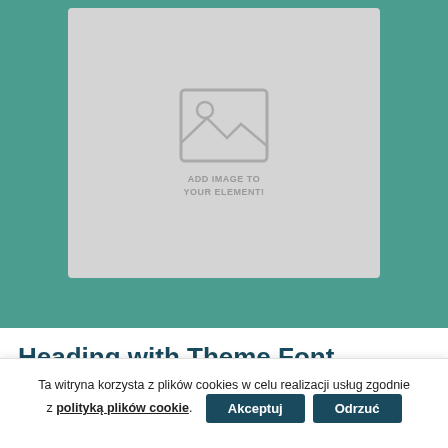[Figure (other): Image placeholder with mountain/landscape icon and text 'ADD IMAGE TO YOUR ELEMENT!' on a light gray card background, set against a teal green background]
Heading with Theme Font
This is a placeholder lorem ipsum body text in context...
Ta witryna korzysta z plików cookies w celu realizacji usług zgodnie z polityką plików cookie.
Akceptuj
Odrzuć